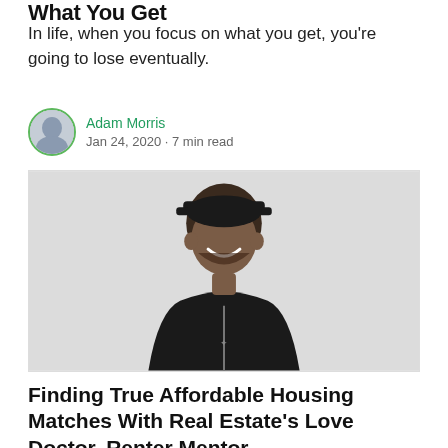What You Get
In life, when you focus on what you get, you’re going to lose eventually.
Adam Morris
Jan 24, 2020 · 7 min read
[Figure (photo): A smiling man wearing a black cap and black zip-up hoodie, photographed against a light grey background.]
Finding True Affordable Housing Matches With Real Estate’s Love Doctor, Renter Mentor